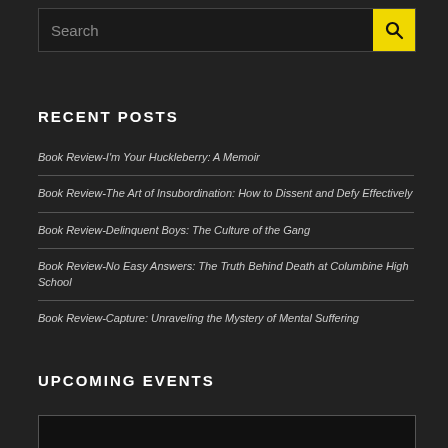[Figure (other): Search bar with text input and yellow search button with magnifying glass icon]
RECENT POSTS
Book Review-I'm Your Huckleberry: A Memoir
Book Review-The Art of Insubordination: How to Dissent and Defy Effectively
Book Review-Delinquent Boys: The Culture of the Gang
Book Review-No Easy Answers: The Truth Behind Death at Columbine High School
Book Review-Capture: Unraveling the Mystery of Mental Suffering
UPCOMING EVENTS
[Figure (other): Calendar event box with SEP badge]